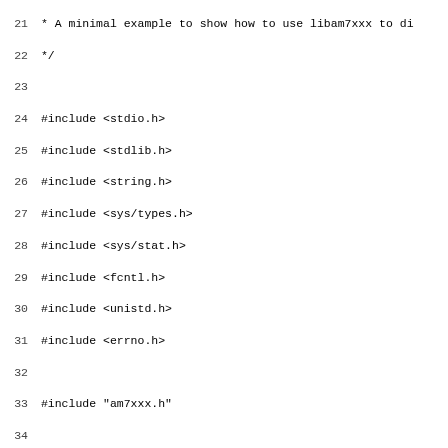Code listing lines 21–52 (C source code using libam7xxx)